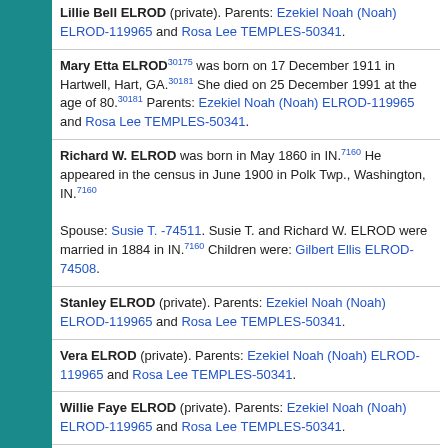Lillie Bell ELROD (private). Parents: Ezekiel Noah (Noah) ELROD-119965 and Rosa Lee TEMPLES-50341.
Mary Etta ELROD[30175] was born on 17 December 1911 in Hartwell, Hart, GA.[30181] She died on 25 December 1991 at the age of 80.[30181] Parents: Ezekiel Noah (Noah) ELROD-119965 and Rosa Lee TEMPLES-50341.
Richard W. ELROD was born in May 1860 in IN.[7160] He appeared in the census in June 1900 in Polk Twp., Washington, IN.[7160] Spouse: Susie T. -74511. Susie T. and Richard W. ELROD were married in 1884 in IN.[7160] Children were: Gilbert Ellis ELROD-74508.
Stanley ELROD (private). Parents: Ezekiel Noah (Noah) ELROD-119965 and Rosa Lee TEMPLES-50341.
Vera ELROD (private). Parents: Ezekiel Noah (Noah) ELROD-119965 and Rosa Lee TEMPLES-50341.
Willie Faye ELROD (private). Parents: Ezekiel Noah (Noah) ELROD-119965 and Rosa Lee TEMPLES-50341.
Ted Joseph ELSASS (private). Spouse: Jenelda Ann (Jan) TEMPLE-83617.